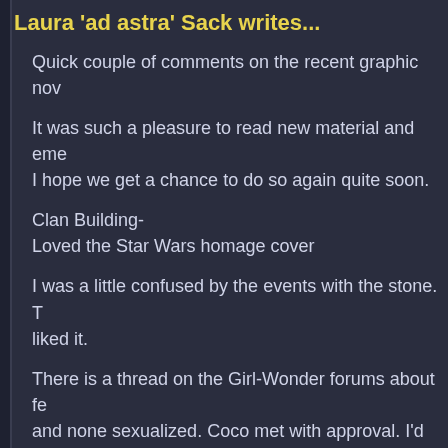Laura 'ad astra' Sack writes...
Quick couple of comments on the recent graphic nov
It was such a pleasure to read new material and eme I hope we get a chance to do so again quite soon.
Clan Building-
Loved the Star Wars homage cover
I was a little confused by the events with the stone. T liked it.
There is a thread on the Girl-Wonder forums about fe and none sexualized. Coco met with approval. I'd ha believe the word was "awesome" :)
I found it odd that the Rosetta Stone was included ar legends about the stone? I thought it was just the on loved the "Hey" "Hey" between the stone and grail.
Also surprised by the "Bugger Off". Isn't that rather o to keep the comics as all age friendly as the cartoon hand being cut off flew by me (no pun intended). Din
But a substitution phrase would be easier that